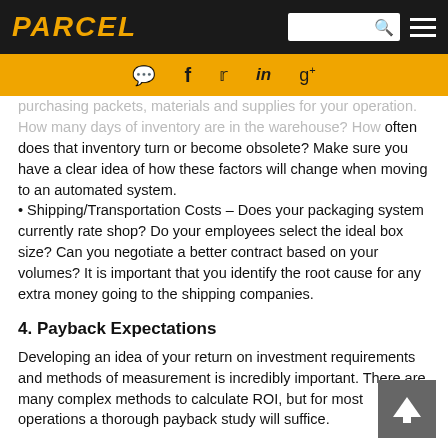PARCEL
purchasing packets, materials and supplies for your operation. How many days of inventory are in the warehouse? How often does that inventory turn or become obsolete? Make sure you have a clear idea of how these factors will change when moving to an automated system.
• Shipping/Transportation Costs – Does your packaging system currently rate shop? Do your employees select the ideal box size? Can you negotiate a better contract based on your volumes? It is important that you identify the root cause for any extra money going to the shipping companies.
4. Payback Expectations
Developing an idea of your return on investment requirements and methods of measurement is incredibly important. There are many complex methods to calculate ROI, but for most operations a thorough payback study will suffice.